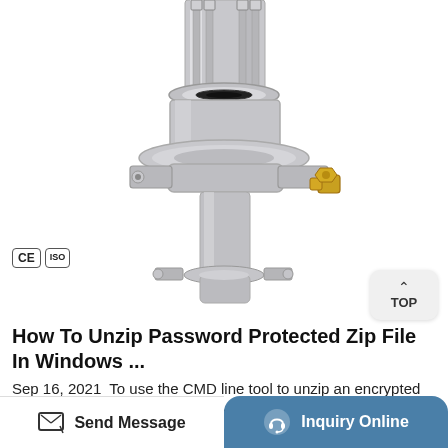[Figure (photo): Close-up photograph of a stainless steel mechanical shaft seal / pump seal assembly with bolted flange, clamping ring, and a gold/brass coloured fitting on the right side. CE and ISO certification badges visible bottom left.]
How To Unzip Password Protected Zip File In Windows ...
Sep 16, 2021  To use the CMD line tool to unzip an encrypted ZIP file follow these steps:  To begin with, download the John the Ripper Zip file onto your computer and then extract it to your desktop
Send Message  |  Inquiry Online